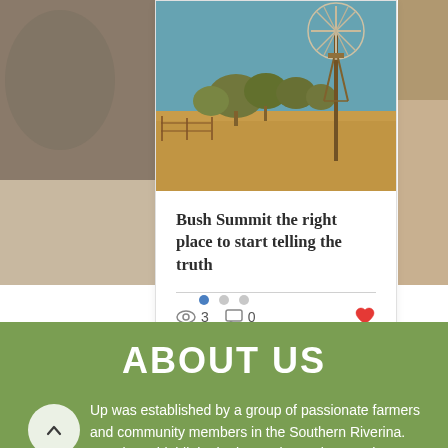[Figure (photo): Australian rural landscape with windmill, dry paddocks, eucalyptus trees, and blue sky]
Bush Summit the right place to start telling the truth
3 views, 0 comments, like button
[Figure (other): Pagination dots: three dots, first one active (blue)]
ABOUT US
...Up was established by a group of passionate farmers and community members in the Southern Riverina. We aim to highlight the issues impacting Southern New South Wales and Northern Victoria